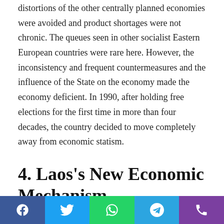distortions of the other centrally planned economies were avoided and product shortages were not chronic. The queues seen in other socialist Eastern European countries were rare here. However, the inconsistency and frequent countermeasures and the influence of the State on the economy made the economy deficient. In 1990, after holding free elections for the first time in more than four decades, the country decided to move completely away from economic statism.
4. Laos's New Economic Mechanism
The New Economic Mechanism was also the name given to the reforms implemented in Laos beginning in 1985. In a
Social share bar: Facebook, Twitter, WhatsApp, Telegram, Phone